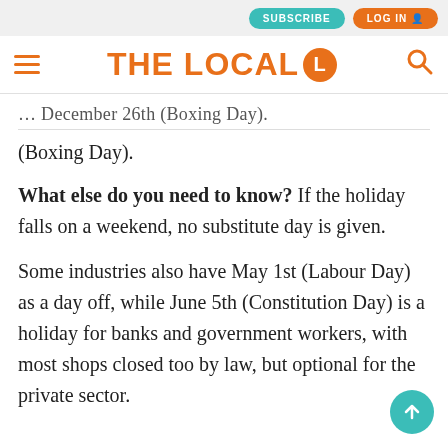SUBSCRIBE  LOG IN
THE LOCAL L
(Boxing Day).
What else do you need to know? If the holiday falls on a weekend, no substitute day is given.
Some industries also have May 1st (Labour Day) as a day off, while June 5th (Constitution Day) is a holiday for banks and government workers, with most shops closed too by law, but optional for the private sector.